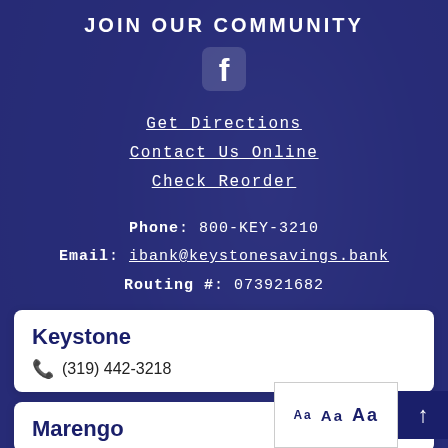JOIN OUR COMMUNITY
[Figure (logo): Facebook logo icon in white]
Get Directions
Contact Us Online
Check Reorder
Phone: 800-KEY-3210
Email: ibank@keystonesavings.bank
Routing #: 073921682
Keystone
(319) 442-3218
Marengo